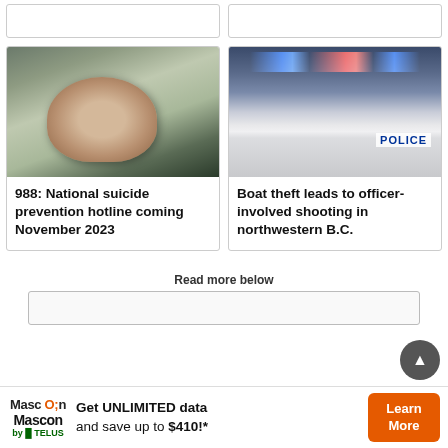[Figure (photo): Two stub card placeholders at top of page]
[Figure (photo): Photo of a middle-aged man with glasses and grey beard, taking a selfie in a car]
988: National suicide prevention hotline coming November 2023
[Figure (photo): Photo of police SUVs with blue and red lights on, POLICE written on the back, on a street]
Boat theft leads to officer-involved shooting in northwestern B.C.
Read more below
[Figure (infographic): Advertisement: Mascon by Telus — Get UNLIMITED data and save up to $410!* Learn More]